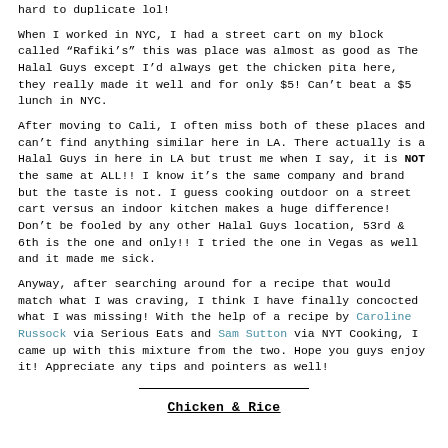hard to duplicate lol!
When I worked in NYC, I had a street cart on my block called “Rafiki’s” this was place was almost as good as The Halal Guys except I’d always get the chicken pita here, they really made it well and for only $5! Can’t beat a $5 lunch in NYC.
After moving to Cali, I often miss both of these places and can’t find anything similar here in LA. There actually is a Halal Guys in here in LA but trust me when I say, it is NOT the same at ALL!! I know it’s the same company and brand but the taste is not. I guess cooking outdoor on a street cart versus an indoor kitchen makes a huge difference! Don’t be fooled by any other Halal Guys location, 53rd & 6th is the one and only!! I tried the one in Vegas as well and it made me sick.
Anyway, after searching around for a recipe that would match what I was craving, I think I have finally concocted what I was missing! With the help of a recipe by Caroline Russock via Serious Eats and Sam Sutton via NYT Cooking, I came up with this mixture from the two. Hope you guys enjoy it! Appreciate any tips and pointers as well!
Chicken & Rice
Ingredients: